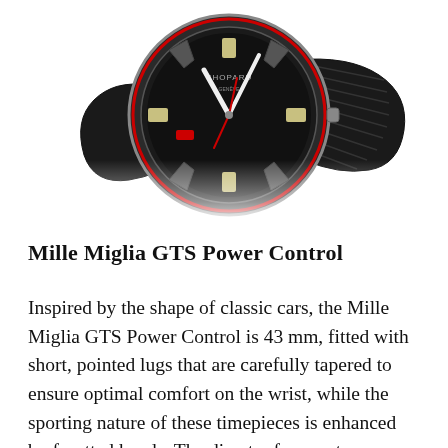[Figure (photo): A Chopard Mille Miglia GTS Power Control watch with a black dial, red accents, and a black rubber strap with a tread pattern, shown at an angle with its reflection below on a white background.]
Mille Miglia GTS Power Control
Inspired by the shape of classic cars, the Mille Miglia GTS Power Control is 43 mm, fitted with short, pointed lugs that are carefully tapered to ensure optimal comfort on the wrist, while the sporting nature of these timepieces is enhanced by facetted hands. The direct reference to cars can be further observed on